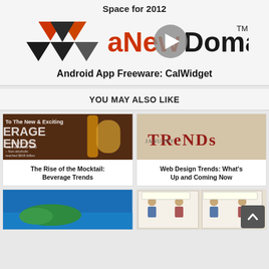Space for 2012
[Figure (logo): aNewDomain logo with geometric diamond shapes in black and red/orange, with a circular play button overlay]
Android App Freeware: CalWidget
YOU MAY ALSO LIKE
[Figure (photo): Beverage trends image with bottles and drinks]
The Rise of the Mocktail: Beverage Trends
[Figure (photo): Web design trends 3D text graphic]
Web Design Trends: What's Up and Coming Now
[Figure (photo): Island/coastline aerial photo]
[Figure (screenshot): Comic strip screenshot]